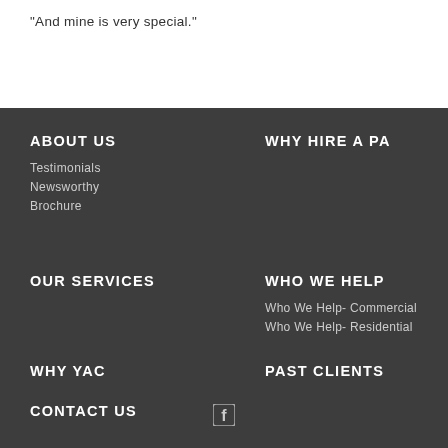"And mine is very special."
ABOUT US
Testimonials
Newsworthy
Brochure
WHY HIRE A PA
OUR SERVICES
WHO WE HELP
Who We Help- Commercial
Who We Help- Residential
WHY YAC
PAST CLIENTS
CONTACT US
[Figure (logo): Facebook icon]